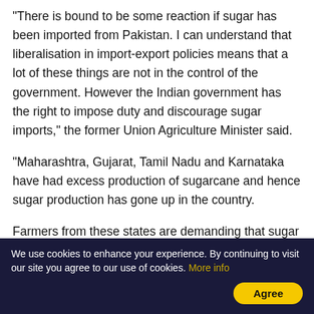"There is bound to be some reaction if sugar has been imported from Pakistan. I can understand that liberalisation in import-export policies means that a lot of these things are not in the control of the government. However the Indian government has the right to impose duty and discourage sugar imports," the former Union Agriculture Minister said.
"Maharashtra, Gujarat, Tamil Nadu and Karnataka have had excess production of sugarcane and hence sugar production has gone up in the country.
Farmers from these states are demanding that sugar be exported," he added.
We use cookies to enhance your experience. By continuing to visit our site you agree to our use of cookies. More info